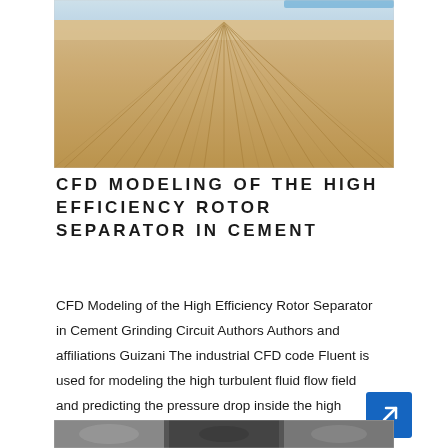[Figure (photo): Aerial or ground-level view of a sandy/cement material surface with tire tracks and ridges, light beige tones.]
CFD MODELING OF THE HIGH EFFICIENCY ROTOR SEPARATOR IN CEMENT
CFD Modeling of the High Efficiency Rotor Separator in Cement Grinding Circuit Authors Authors and affiliations Guizani The industrial CFD code Fluent is used for modeling the high turbulent fluid flow field and predicting the pressure drop inside the high efficiency separator The DPM model is used to estimate the nbsp ...
[Figure (photo): Partial view of a grayscale photograph at the bottom of the page.]